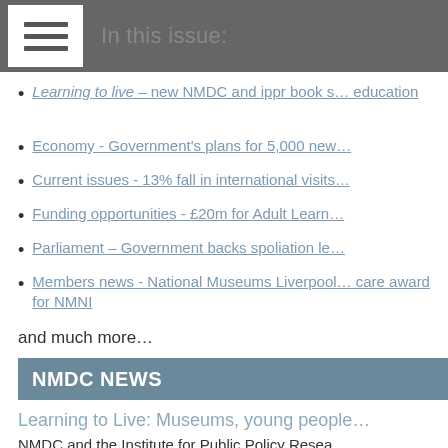In this issue:
Learning to live – new NMDC and ippr book s... education
Economy - Government's plans for 5,000 new...
Current issues - 13% fall in international visits...
Funding opportunities - £20m for Adult Learn...
Parliament – Government backs spoliation le...
Members news - National Museums Liverpool... care award for NMNI
and much more…
NMDC NEWS
Learning to Live: Museums, young people...
NMDC and the Institute for Public Policy Resea...
Learning to Live: Museums, young people and...